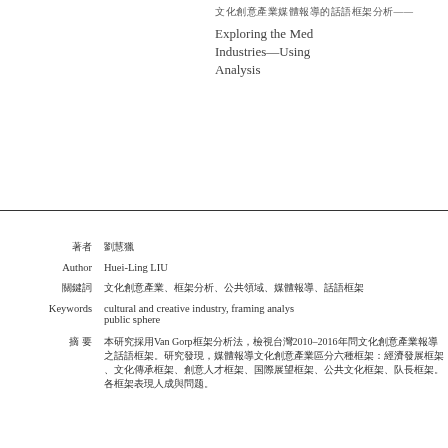（CJK characters）—
Exploring the Med Industries—Using Analysis
| Field | Value |
| --- | --- |
| （CJK） | （CJK） |
| Author | Huei-Ling LIU |
| （CJK） | （CJK keywords） |
| Keywords | cultural and creative industry, framing analysis, public sphere |
| （CJK） | （CJK abstract text with Van Gorp, 2010–2016） |